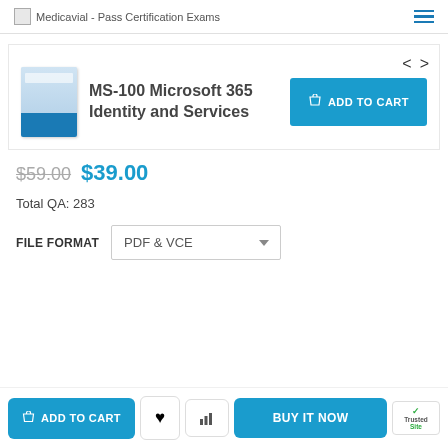Medicavial - Pass Certification Exams
MS-100 Microsoft 365 Identity and Services
$59.00  $39.00
Total QA: 283
FILE FORMAT  PDF & VCE
ADD TO CART  BUY IT NOW